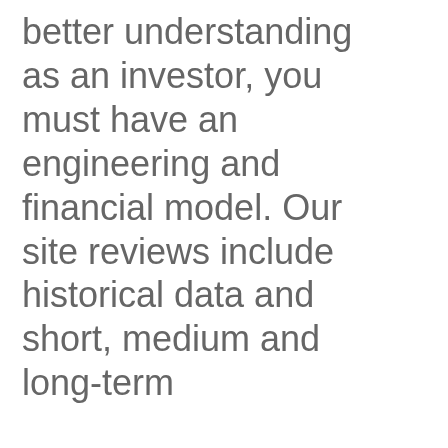better understanding as an investor, you must have an engineering and financial model. Our site reviews include historical data and short, medium and long-term